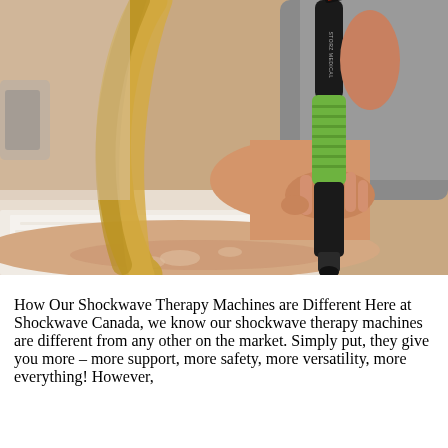[Figure (photo): A healthcare practitioner holding a Storz Medical shockwave therapy device (black with green grip) and applying it to a patient's back/shoulder area. The patient is lying on a treatment table with white paper. The therapist has long blonde hair and is wearing a grey sleeveless top.]
How Our Shockwave Therapy Machines are Different Here at Shockwave Canada, we know our shockwave therapy machines are different from any other on the market. Simply put, they give you more – more support, more safety, more versatility, more everything! However,